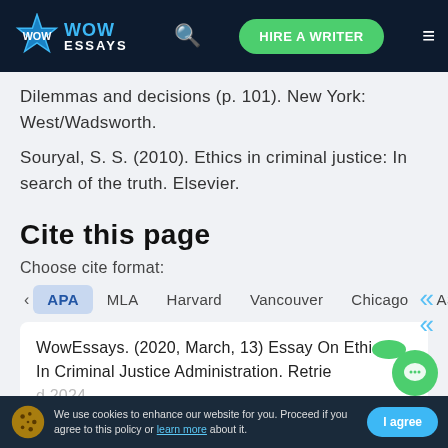WOW ESSAYS — HIRE A WRITER
Dilemmas and decisions (p. 101). New York: West/Wadsworth.
Souryal, S. S. (2010). Ethics in criminal justice: In search of the truth. Elsevier.
Cite this page
Choose cite format:
APA  MLA  Harvard  Vancouver  Chicago  AS
WowEssays. (2020, March, 13) Essay On Ethics In Criminal Justice Administration. Retrie...
We use cookies to enhance our website for you. Proceed if you agree to this policy or learn more about it.   I agree